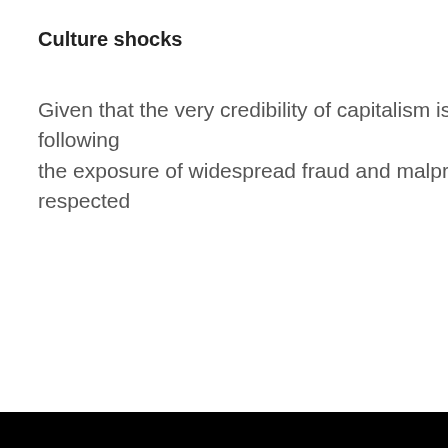Culture shocks
Given that the very credibility of capitalism is under question following the exposure of widespread fraud and malpractice in hitherto respected
[Figure (screenshot): Cookie consent overlay on a website. Black background with white centered text reading: 'This website uses cookies to improve your experience and for ads personalisation. By continuing to browse this site you are agreeing to our use of these cookies. You can learn more about the cookies we use here.' Below the overlay is a yellow OK button bar.]